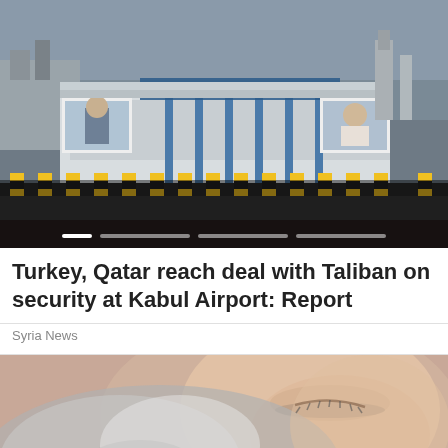[Figure (photo): Kabul Airport building exterior with Cyrillic/Dari script signage on the facade, two large billboard displays on either side, yellow bollards in front, empty road in foreground, overcast sky.]
Turkey, Qatar reach deal with Taliban on security at Kabul Airport: Report
Syria News
[Figure (photo): Close-up of a child's face nuzzling against a grey striped cat, eyes closed, soft focus background.]